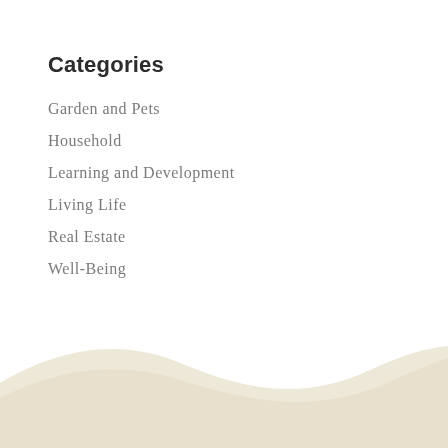Categories
Garden and Pets
Household
Learning and Development
Living Life
Real Estate
Well-Being
[Figure (illustration): Decorative wave shape in cream/beige color at the bottom of the page]